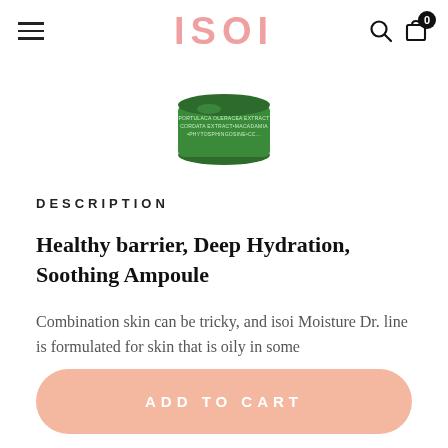ISOI
[Figure (photo): Green jar of ISOI skincare product (Moisture Dr. Ampoule), viewed from above, lid off showing label with ingredient text: PORTULACA OLERACEA EXTRACT, CORDATA EXTRACT, MACADAMIA, PHYTOSPHINGOSINE, CC...]
DESCRIPTION
Healthy barrier, Deep Hydration, Soothing Ampoule
Combination skin can be tricky, and isoi Moisture Dr. line is formulated for skin that is oily in some
ADD TO CART